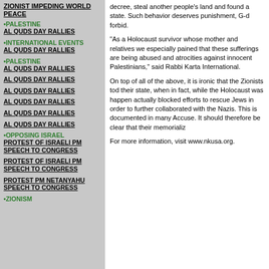ZIONIST IMPEDING WORLD PEACE
•PALESTINE AL QUDS DAY RALLIES
•INTERNATIONAL EVENTS AL QUDS DAY RALLIES
•PALESTINE AL QUDS DAY RALLIES
AL QUDS DAY RALLIES
AL QUDS DAY RALLIES
AL QUDS DAY RALLIES
AL QUDS DAY RALLIES
AL QUDS DAY RALLIES
•OPPOSING ISRAEL PROTEST OF ISRAELI PM SPEECH TO CONGRESS
PROTEST OF ISRAELI PM SPEECH TO CONGRESS
PROTEST PM NETANYAHU SPEECH TO CONGRESS
•ZIONISM
decree, steal another people's land and found a state. Such behavior deserves punishment, G-d forbid.
"As a Holocaust survivor whose mother and relatives were murdered, I am especially pained that these sufferings are being abused to justify crimes and atrocities against innocent Palestinians," said Rabbi... Neturei Karta International.
On top of all of the above, it is ironic that the Zionists today use the Holocaust for their state, when in fact, while the Holocaust was happening, the Zionists actually blocked efforts to rescue Jews in order to further their state and collaborated with the Nazis. This is documented in many books, including J'Accuse. It should therefore be clear that their memorialization...
For more information, visit www.nkusa.org.